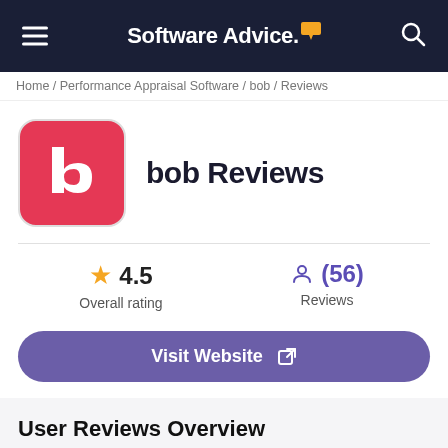Software Advice.
Home / Performance Appraisal Software / bob / Reviews
[Figure (logo): bob app logo: white letter b on red rounded square background]
bob Reviews
4.5 Overall rating
(56) Reviews
Visit Website
User Reviews Overview
ABOUT BOB